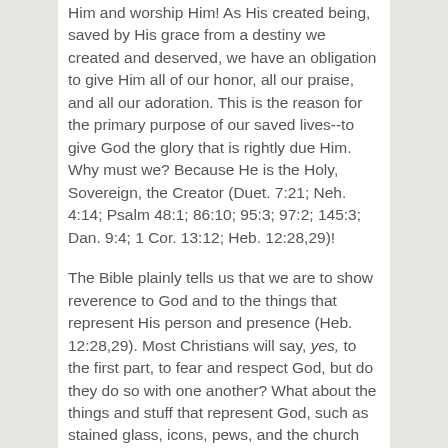Him and worship Him! As His created being, saved by His grace from a destiny we created and deserved, we have an obligation to give Him all of our honor, all our praise, and all our adoration. This is the reason for the primary purpose of our saved lives--to give God the glory that is rightly due Him. Why must we? Because He is the Holy, Sovereign, the Creator (Duet. 7:21; Neh. 4:14; Psalm 48:1; 86:10; 95:3; 97:2; 145:3; Dan. 9:4; 1 Cor. 13:12; Heb. 12:28,29)!
The Bible plainly tells us that we are to show reverence to God and to the things that represent His person and presence (Heb. 12:28,29). Most Christians will say, yes, to the first part, to fear and respect God, but do they do so with one another? What about the things and stuff that represent God, such as stained glass, icons, pews, and the church lobby? Many Christians today do not believe